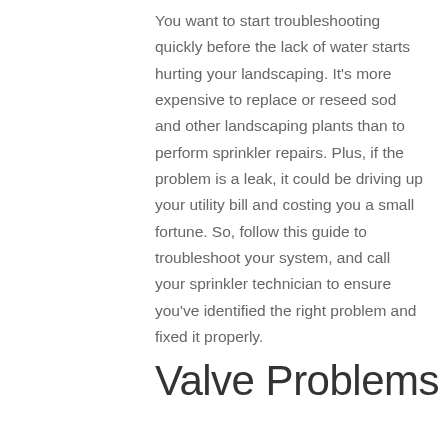You want to start troubleshooting quickly before the lack of water starts hurting your landscaping. It's more expensive to replace or reseed sod and other landscaping plants than to perform sprinkler repairs. Plus, if the problem is a leak, it could be driving up your utility bill and costing you a small fortune. So, follow this guide to troubleshoot your system, and call your sprinkler technician to ensure you've identified the right problem and fixed it properly.
Valve Problems